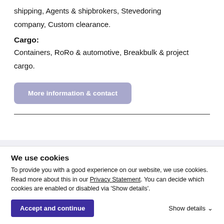shipping, Agents & shipbrokers, Stevedoring company, Custom clearance.
Cargo:
Containers, RoRo & automotive, Breakbulk & project cargo.
More information & contact
Direct contact with our experts
We use cookies
To provide you with a good experience on our website, we use cookies. Read more about this in our Privacy Statement. You can decide which cookies are enabled or disabled via 'Show details'.
Accept and continue
Show details